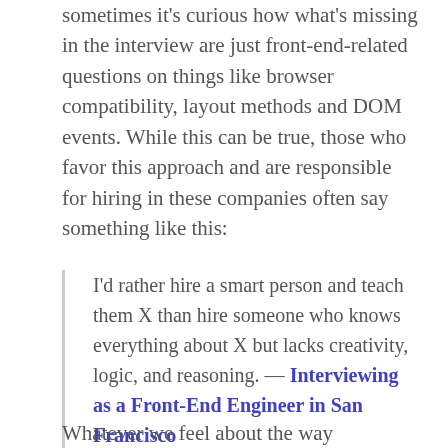sometimes it's curious how what's missing in the interview are just front-end-related questions on things like browser compatibility, layout methods and DOM events. While this can be true, those who favor this approach and are responsible for hiring in these companies often say something like this:
I'd rather hire a smart person and teach them X than hire someone who knows everything about X but lacks creativity, logic, and reasoning. — Interviewing as a Front-End Engineer in San Francisco
Whatever we feel about the way candidates are